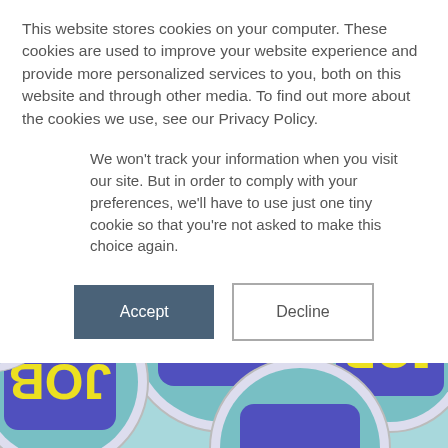This website stores cookies on your computer. These cookies are used to improve your website experience and provide more personalized services to you, both on this website and through other media. To find out more about the cookies we use, see our Privacy Policy.
We won't track your information when you visit our site. But in order to comply with your preferences, we'll have to use just one tiny cookie so that you're not asked to make this choice again.
[Figure (photo): A pile of circular button badges with JOB branding — blue and teal with yellow text reading 'JOB' and cartoon gloved hand pointing, scattered overlapping]